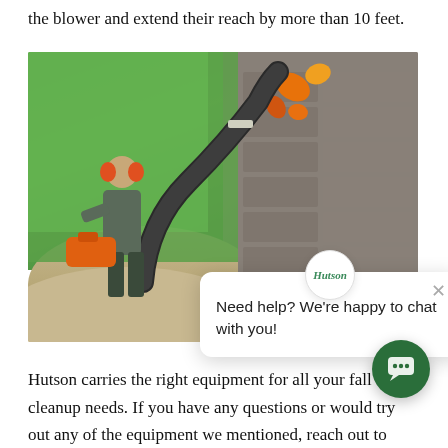the blower and extend their reach by more than 10 feet.
[Figure (photo): A person using a leaf blower with a curved attachment hose directed into a roof gutter, with fall leaves visible, grass and gravel landscaping in the background.]
Need help? We're happy to chat with you!
Hutson carries the right equipment for all your fall cleanup needs. If you have any questions or would try out any of the equipment we mentioned, reach out to